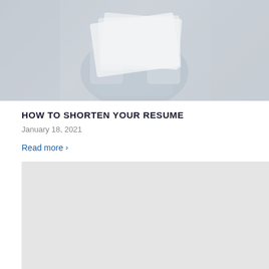[Figure (photo): A person holding and reading documents/papers, with a brick wall background. The image is muted and faded in appearance.]
HOW TO SHORTEN YOUR RESUME
January 18, 2021
Read more >
[Figure (photo): A second article image placeholder, shown as a light grey rectangle.]